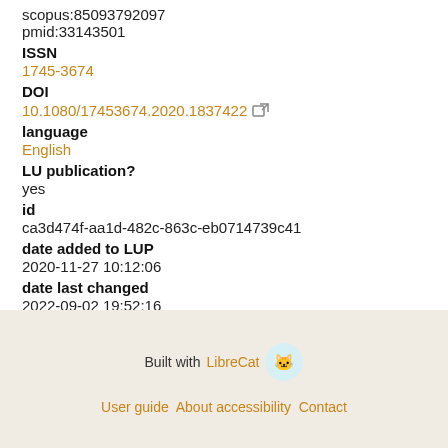scopus:85093792097
pmid:33143501
ISSN
1745-3674
DOI
10.1080/17453674.2020.1837422
language
English
LU publication?
yes
id
ca3d474f-aa1d-482c-863c-eb0714739c41
date added to LUP
2020-11-27 10:12:06
date last changed
2022-09-02 19:52:16
Built with LibreCat | User guide About accessibility Contact